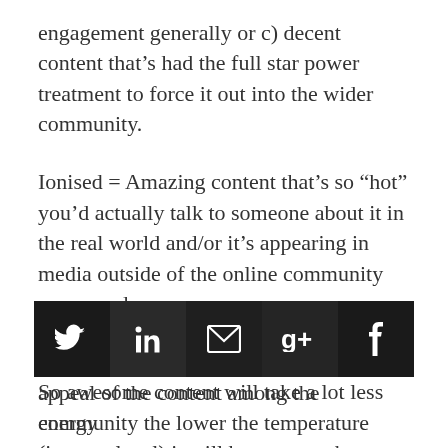engagement generally or c) decent content that’s had the full star power treatment to force it out into the wider community.
Ionised = Amazing content that’s so “hot” you’d actually talk to someone about it in the real world and/or it’s appearing in media outside of the online community concerned.
The key is that the more widespread the appeal of the content among the community the lower the temperature (interest level) it will have to reach to change its state.
[Figure (other): Social sharing buttons row: Twitter, LinkedIn, Email, Google+, Facebook icons on dark/black background]
So awesome content will take a lot less energy